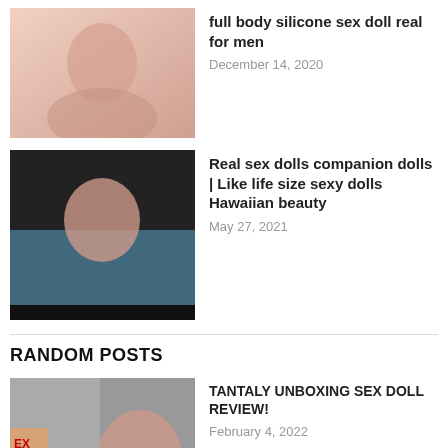[Figure (photo): Thumbnail image for full body silicone sex doll real for men article]
full body silicone sex doll real for men
December 14, 2020
[Figure (photo): Thumbnail image for Real sex dolls companion dolls Hawaiian beauty article]
Real sex dolls companion dolls | Like life size sexy dolls Hawaiian beauty
May 27, 2021
RANDOM POSTS
[Figure (photo): Thumbnail image for TANTALY UNBOXING SEX DOLL REVIEW article]
TANTALY UNBOXING SEX DOLL REVIEW!
February 4, 2022
[Figure (photo): Thumbnail image for 8 Beautiful Realistic Sex Dolls From Lovedollshops article]
8 Beautiful Realistic Sex Dolls From Lovedollshops
May 19, 2021